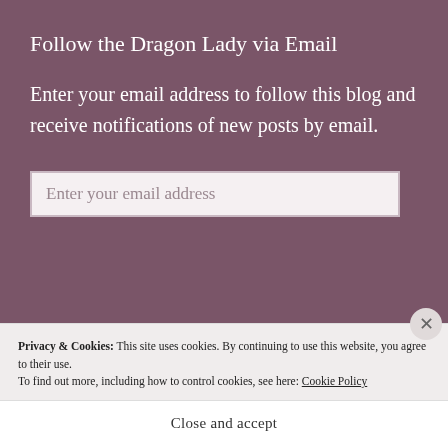Follow the Dragon Lady via Email
Enter your email address to follow this blog and receive notifications of new posts by email.
Enter your email address
Privacy & Cookies: This site uses cookies. By continuing to use this website, you agree to their use.
To find out more, including how to control cookies, see here: Cookie Policy
Close and accept